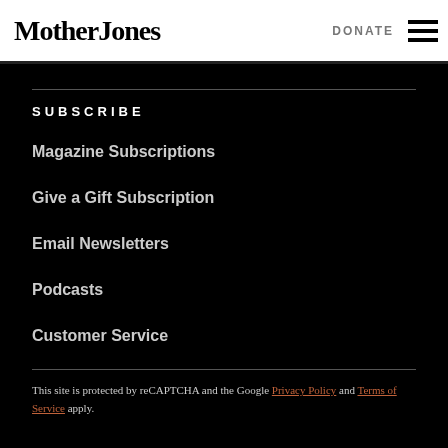Mother Jones | DONATE
SUBSCRIBE
Magazine Subscriptions
Give a Gift Subscription
Email Newsletters
Podcasts
Customer Service
This site is protected by reCAPTCHA and the Google Privacy Policy and Terms of Service apply.